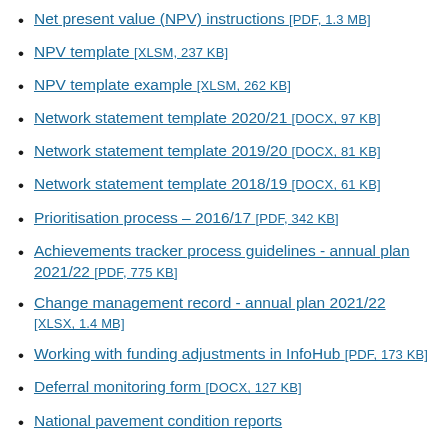Net present value (NPV) instructions [PDF, 1.3 MB]
NPV template [XLSM, 237 KB]
NPV template example [XLSM, 262 KB]
Network statement template 2020/21 [DOCX, 97 KB]
Network statement template 2019/20 [DOCX, 81 KB]
Network statement template 2018/19 [DOCX, 61 KB]
Prioritisation process – 2016/17 [PDF, 342 KB]
Achievements tracker process guidelines - annual plan 2021/22 [PDF, 775 KB]
Change management record - annual plan 2021/22 [XLSX, 1.4 MB]
Working with funding adjustments in InfoHub [PDF, 173 KB]
Deferral monitoring form [DOCX, 127 KB]
National pavement condition reports